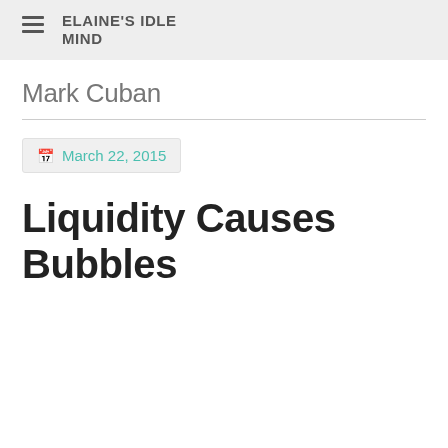ELAINE'S IDLE MIND
Mark Cuban
March 22, 2015
Liquidity Causes Bubbles